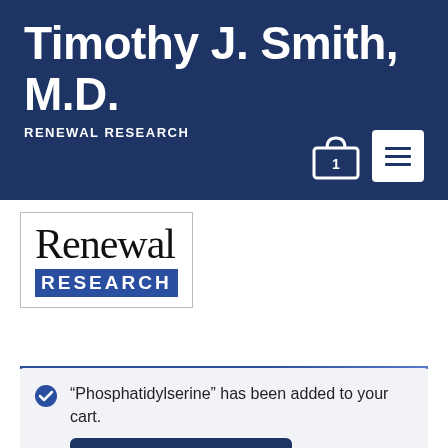Timothy J. Smith, M.D.
RENEWAL RESEARCH
[Figure (logo): Renewal Research logo with serif 'Renewal' text above bold white 'RESEARCH' on blue background, inside a bordered box]
“Phosphatidylserine” has been added to your cart.
VIEW CART